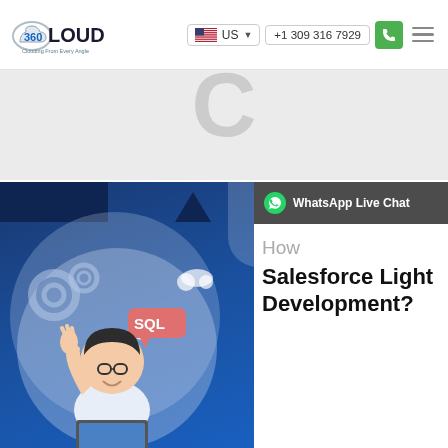[Figure (logo): 360 Degree Cloud logo with text 'Clouding From Every Angle']
US
+1 309 316 7929
[Figure (screenshot): Gray banner section with partial large letter visible]
[Figure (illustration): Blog article card showing an illustrated person at a laptop with SQL speech bubble, gears, clouds on a blue background. Text overlay: 'WhatsApp Live Chat'. Partial title reads 'How to... Salesforce Light Development?']
Salesforce Light Development?
How
WhatsApp Live Chat